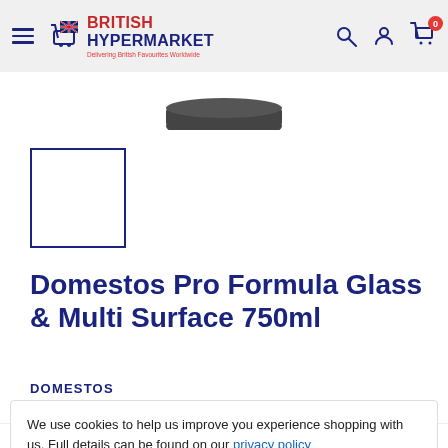British Hypermarket — Delivering British Favourites Worldwide
[Figure (photo): Partial product image — dark lid of a cleaning product bottle, cropped at top]
[Figure (photo): Empty thumbnail/product image placeholder box with blue border]
Domestos Pro Formula Glass & Multi Surface 750ml
DOMESTOS
We use cookies to help us improve you experience shopping with us. Full details can be found on our privacy policy
Tax Included Shipping calculated at